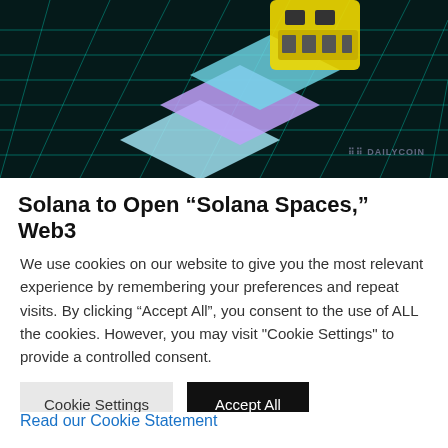[Figure (illustration): Digital 3D illustration showing a yellow robot/character and colorful Solana logo tokens on a teal grid/mesh background. Watermark text 'DAILYCOIN' in lower right.]
Solana to Open “Solana Spaces,” Web3 Headquarters in New York
We use cookies on our website to give you the most relevant experience by remembering your preferences and repeat visits. By clicking “Accept All”, you consent to the use of ALL the cookies. However, you may visit "Cookie Settings" to provide a controlled consent.
Cookie Settings | Accept All
Read our Cookie Statement